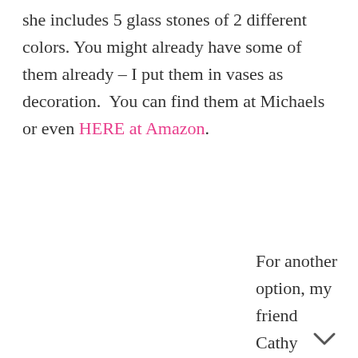she includes 5 glass stones of 2 different colors. You might already have some of them already – I put them in vases as decoration.  You can find them at Michaels or even HERE at Amazon.
For another option, my friend Cathy found these tile spacers from Home Depot for the "X" and water bottle tops for the "O".